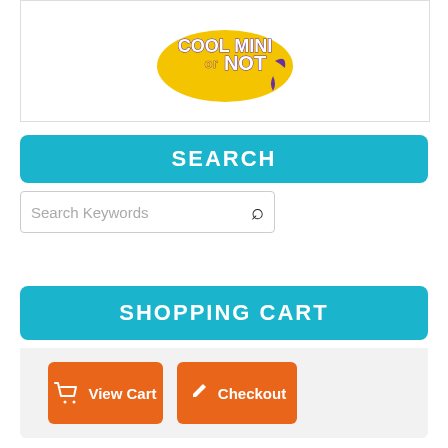[Figure (logo): Cool Mini or Not logo — colorful text logo on white background]
SEARCH
Search Keywords
SHOPPING CART
View Cart  Checkout